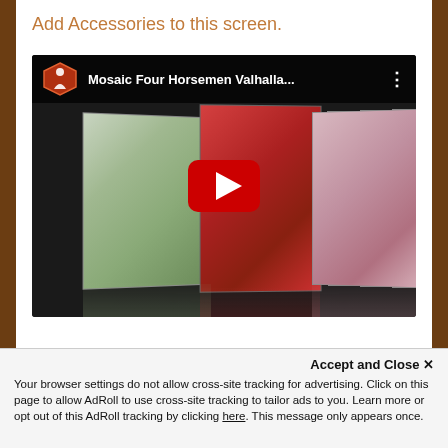Add Accessories to this screen.
[Figure (screenshot): YouTube video thumbnail showing 'Mosaic Four Horsemen Valhalla...' with artwork panels of illustrated figures on a dark background, featuring a red YouTube play button overlay and channel icon in the top left.]
Accept and Close ✕
Your browser settings do not allow cross-site tracking for advertising. Click on this page to allow AdRoll to use cross-site tracking to tailor ads to you. Learn more or opt out of this AdRoll tracking by clicking here. This message only appears once.